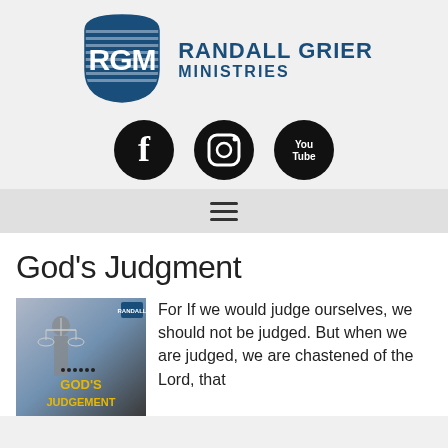[Figure (logo): RGM Randall Grier Ministries logo with shield icon and text]
[Figure (infographic): Social media icons: Facebook, Instagram, YouTube in black circles]
[Figure (infographic): Hamburger navigation menu icon (three horizontal lines)]
God's Judgment
[Figure (photo): Book cover for God's Judgement showing Lady Justice holding scales, with gold text 'GOD'S JUDGEMENT' and Randall Grier Ministries branding]
For If we would judge ourselves, we should not be judged. But when we are judged, we are chastened of the Lord, that